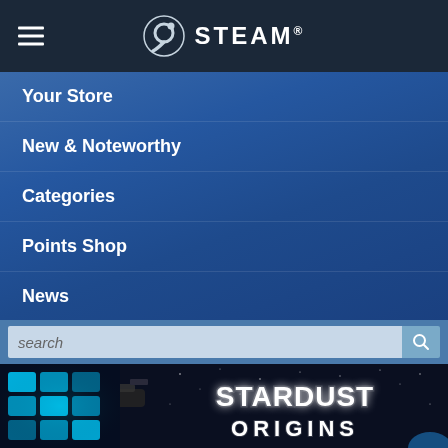STEAM
Your Store
New & Noteworthy
Categories
Points Shop
News
Labs
search
[Figure (screenshot): Stardust Origins game banner showing a spacecraft with cyan glowing panels against a starfield background, with the game title 'STARDUST ORIGINS' in large white text]